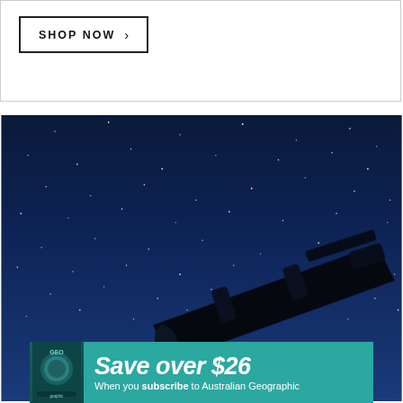SHOP NOW >
[Figure (photo): Silhouette of a telescope on a tripod against a dark blue night sky filled with stars. The telescope is angled upward pointing toward the upper right.]
Save over $26 When you subscribe to Australian Geographic